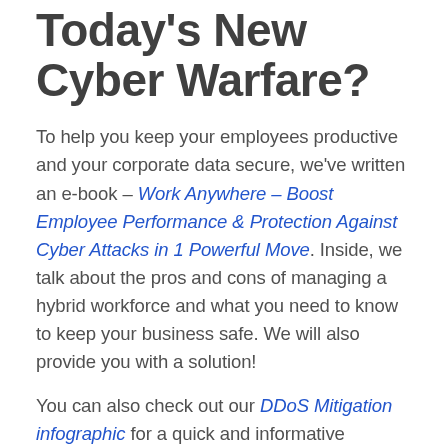Today's New Cyber Warfare?
To help you keep your employees productive and your corporate data secure, we've written an e-book – Work Anywhere – Boost Employee Performance & Protection Against Cyber Attacks in 1 Powerful Move. Inside, we talk about the pros and cons of managing a hybrid workforce and what you need to know to keep your business safe. We will also provide you with a solution!
You can also check out our DDoS Mitigation infographic for a quick and informative overview